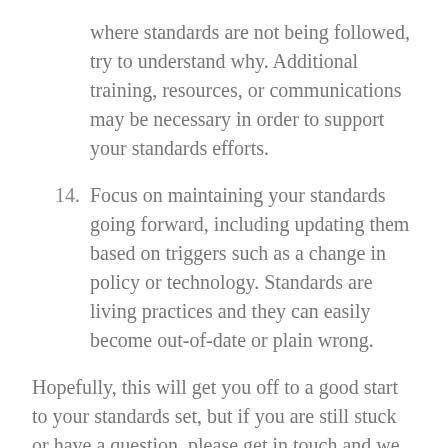where standards are not being followed, try to understand why. Additional training, resources, or communications may be necessary in order to support your standards efforts.
14. Focus on maintaining your standards going forward, including updating them based on triggers such as a change in policy or technology. Standards are living practices and they can easily become out-of-date or plain wrong.
Hopefully, this will get you off to a good start to your standards set, but if you are still stuck or have a question, please get in touch and we can talk